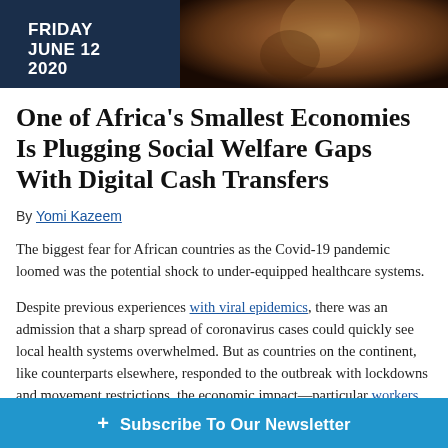FRIDAY JUNE 12 2020
[Figure (photo): Header photo showing a person, warm brown tones]
One of Africa's Smallest Economies Is Plugging Social Welfare Gaps With Digital Cash Transfers
By Yomi Kazeem
The biggest fear for African countries as the Covid-19 pandemic loomed was the potential shock to under-equipped healthcare systems.
Despite previous experiences with viral epidemics, there was an admission that a sharp spread of coronavirus cases could quickly see local health systems overwhelmed. But as countries on the continent, like counterparts elsewhere, responded to the outbreak with lockdowns and movement restrictions, the economic impact—particula... workers who dep...
+ Subscribe To Our Newsletter